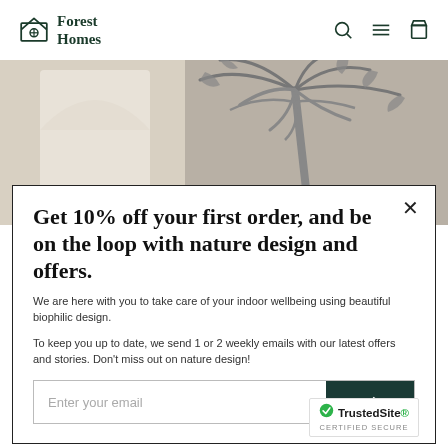Forest Homes
[Figure (photo): Interior room with neutral walls, an arched doorway, and a tropical palm tree wallpaper mural in black and white tones]
Get 10% off your first order, and be on the loop with nature design and offers.
We are here with you to take care of your indoor wellbeing using beautiful biophilic design.
To keep you up to date, we send 1 or 2 weekly emails with our latest offers and stories. Don't miss out on nature design!
Enter your email
[Figure (logo): TrustedSite CERTIFIED SECURE badge]